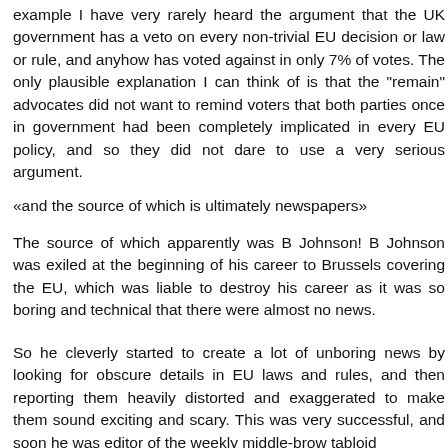example I have very rarely heard the argument that the UK government has a veto on every non-trivial EU decision or law or rule, and anyhow has voted against in only 7% of votes. The only plausible explanation I can think of is that the "remain" advocates did not want to remind voters that both parties once in government had been completely implicated in every EU policy, and so they did not dare to use a very serious argument.
«and the source of which is ultimately newspapers»
The source of which apparently was B Johnson! B Johnson was exiled at the beginning of his career to Brussels covering the EU, which was liable to destroy his career as it was so boring and technical that there were almost no news.
So he cleverly started to create a lot of unboring news by looking for obscure details in EU laws and rules, and then reporting them heavily distorted and exaggerated to make them sound exciting and scary. This was very successful, and soon he was editor of the weekly middle-brow tabloid